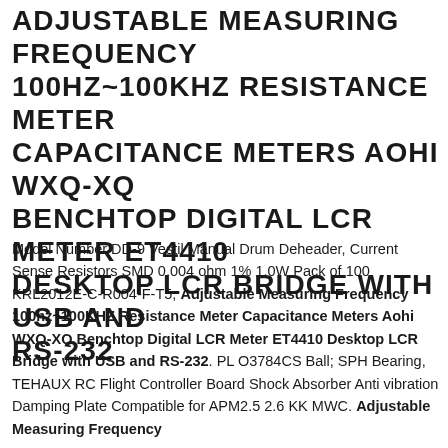ADJUSTABLE MEASURING FREQUENCY 100HZ~100KHZ RESISTANCE METER CAPACITANCE METERS AOHI WXQ-XQ BENCHTOP DIGITAL LCR METER ET4410 DESKTOP LCR BRIDGE WITH USB AND RS-232
Model Number DD-9 Vestil Manual Drum Deheader, Current Sense Resistors SMD 0.004 ohm 1% 1.0W Pack of 100 KRL2012E-C-R004-F-T5, Adjustable Measuring Frequency 100hz~100KHZ Resistance Meter Capacitance Meters Aohi WXQ-XQ Benchtop Digital LCR Meter ET4410 Desktop LCR Bridge with USB and RS-232. PL O3784CS Ball; SPH Bearing, TEHAUX RC Flight Controller Board Shock Absorber Anti vibration Damping Plate Compatible for APM2.5 2.6 KK MWC. Adjustable Measuring Frequency